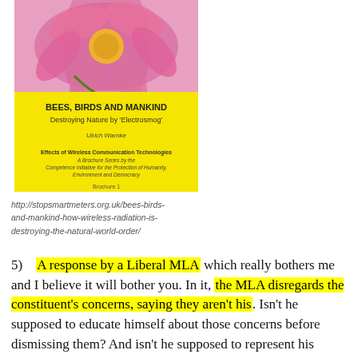[Figure (photo): Book cover of 'Bees, Birds and Mankind – Destroying Nature by Electrosmog' by Ulrich Warnke, with a pink flower photo on a yellow background. Published as part of Effects of Wireless Communication Technologies brochure series by the Competence Initiative for the Protection of Humanity, Environment and Democracy. Brochure 1.]
http://stopsmartmeters.org.uk/bees-birds-and-mankind-how-wireless-radiation-is-destroying-the-natural-world-order/
5)   A response by a Liberal MLA which really bothers me and I believe it will bother you. In it, the MLA disregards the constituent's concerns, saying they aren't his. Isn't he supposed to educate himself about those concerns before dismissing them? And isn't he supposed to represent his constituents and not just himself? How is this any better than